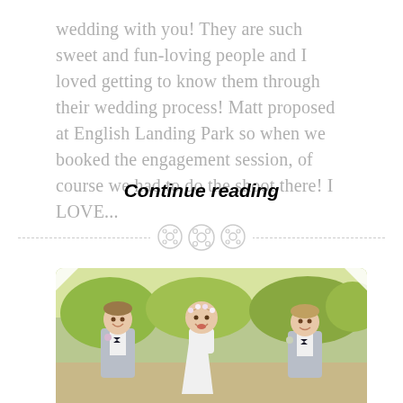wedding with you! They are such sweet and fun-loving people and I loved getting to know them through their wedding process! Matt proposed at English Landing Park so when we booked the engagement session, of course we had to do the shoot there! I LOVE...
Continue reading
[Figure (photo): Three young children dressed in wedding attire — two boys in gray suits with bow ties and boutonnieres flanking a girl in a white dress with a floral headband — smiling and walking outdoors with green foliage in the background.]